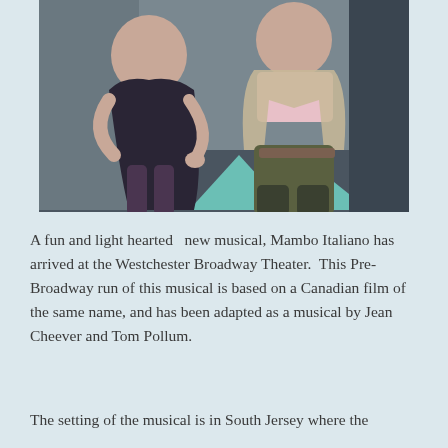[Figure (photo): Two people on stage in a theatrical performance. A woman in a dark floral/sparkly dress sits on the left leaning toward a man who sits on the right wearing olive/dark trousers and a light cardigan over a pink shirt. The background shows a teal/mint and black checkered floor pattern.]
A fun and light hearted  new musical, Mambo Italiano has arrived at the Westchester Broadway Theater.  This Pre-Broadway run of this musical is based on a Canadian film of the same name, and has been adapted as a musical by Jean Cheever and Tom Pollum.
The setting of the musical is in South Jersey where the